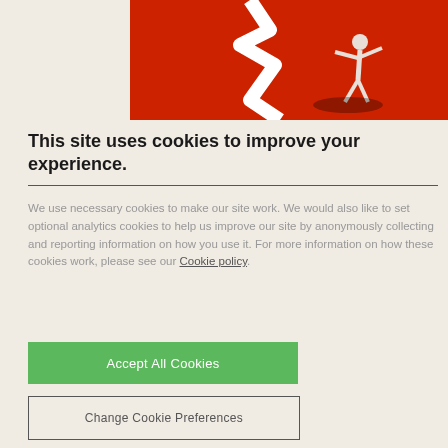[Figure (photo): Red background image with a person balancing on a white cracked/broken line, with a shadow visible on the red surface.]
This site uses cookies to improve your experience.
We use necessary cookies to make our site work. We would also like to set optional analytics cookies to help us improve our site by anonymously collecting and reporting information on how you use it. For more information on how these cookies work, please see our Cookie policy.
Accept All Cookies
Change Cookie Preferences